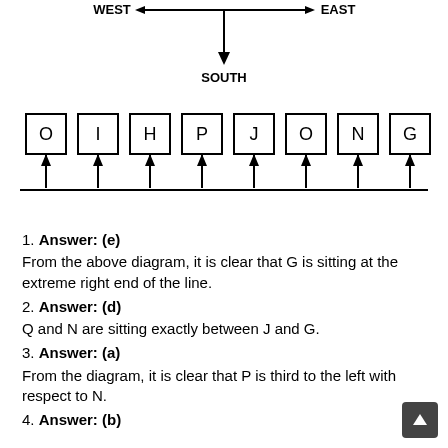[Figure (schematic): Compass diagram showing WEST-EAST horizontal double-headed arrow and downward arrow pointing to SOUTH]
[Figure (schematic): A row of 8 lettered boxes (O, I, H, P, J, O, N, G) each with an upward arrow below them, connected by a horizontal baseline]
1. Answer: (e)
From the above diagram, it is clear that G is sitting at the extreme right end of the line.
2. Answer: (d)
Q and N are sitting exactly between J and G.
3. Answer: (a)
From the diagram, it is clear that P is third to the left with respect to N.
4. Answer: (b)